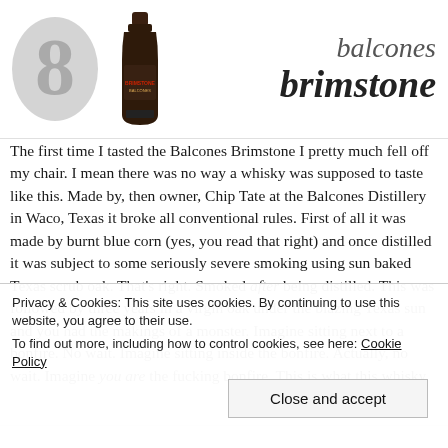[Figure (illustration): Large grey number 8 circle on the left, a dark whisky bottle in the center, and the Balcones Brimstone brand name in italic text on the right]
The first time I tasted the Balcones Brimstone I pretty much fell off my chair. I mean there was no way a whisky was supposed to taste like this. Made by, then owner, Chip Tate at the Balcones Distillery in Waco, Texas it broke all conventional rules. First of all it was made by burnt blue corn (yes, you read that right) and once distilled it was subject to some seriously severe smoking using sun baked Texas scrub oak. That's right. Smoked after being distilled. This was followed by three years in a virgin oak under the blazing Texas sun and you had the makings of a monster. Imagine sitting next to a bonfire. No wait. Imagine sitting inside the bonfire. Actually, no wait. Imagine you are the fucking bonfire. This is what this whisky
Privacy & Cookies: This site uses cookies. By continuing to use this website, you agree to their use.
To find out more, including how to control cookies, see here: Cookie Policy
Close and accept